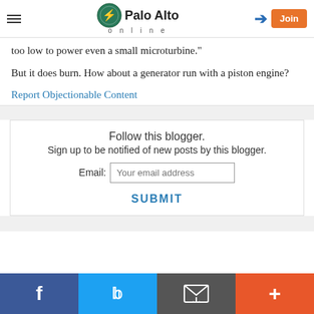Palo Alto online
too low to power even a small microturbine."
But it does burn. How about a generator run with a piston engine?
Report Objectionable Content
Follow this blogger.
Sign up to be notified of new posts by this blogger.
Email: Your email address
SUBMIT
Facebook Twitter Email More